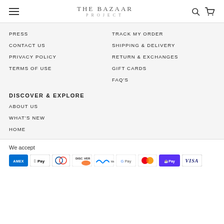[Figure (logo): THE BAZAAR PROJECT logo with hamburger menu, search and cart icons]
PRESS
CONTACT US
PRIVACY POLICY
TERMS OF USE
TRACK MY ORDER
SHIPPING & DELIVERY
RETURN & EXCHANGES
GIFT CARDS
FAQ'S
DISCOVER & EXPLORE
ABOUT US
WHAT'S NEW
HOME
We accept
[Figure (infographic): Payment method logos: Amex, Apple Pay, Diners Club, Discover, Meta Pay, Google Pay, Mastercard, Shop Pay, Visa]